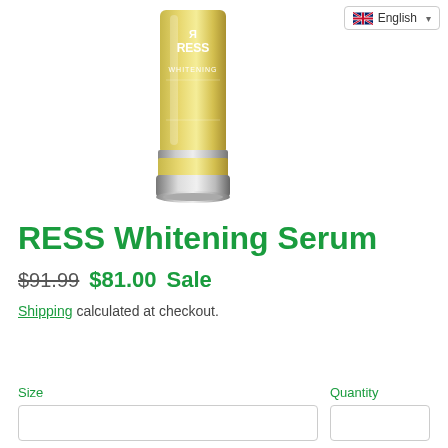[Figure (photo): Product photo of RESS Whitening Serum bottle — a gold/yellow cylindrical bottle with silver metallic base cap, branded with 'R RESS' and 'WHITENING' text on the label]
RESS Whitening Serum
$91.99  $81.00 Sale
Shipping calculated at checkout.
Size
Quantity